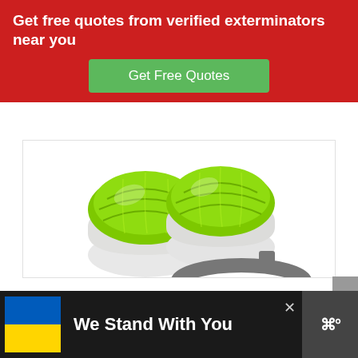Get free quotes from verified exterminators near you
Get Free Quotes
[Figure (photo): Two green and white dome-shaped pest control bait stations with a grey ring-shaped holder]
We Stand With You